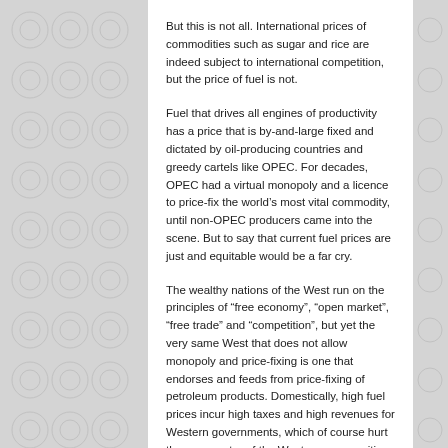But this is not all. International prices of commodities such as sugar and rice are indeed subject to international competition, but the price of fuel is not.
Fuel that drives all engines of productivity has a price that is by-and-large fixed and dictated by oil-producing countries and greedy cartels like OPEC. For decades, OPEC had a virtual monopoly and a licence to price-fix the world’s most vital commodity, until non-OPEC producers came into the scene. But to say that current fuel prices are just and equitable would be a far cry.
The wealthy nations of the West run on the principles of “free economy”, “open market”, “free trade” and “competition”, but yet the very same West that does not allow monopoly and price-fixing is one that endorses and feeds from price-fixing of petroleum products. Domestically, high fuel prices incur high taxes and high revenues for Western governments, which of course hurt the poor sector of the Western communities the most. And